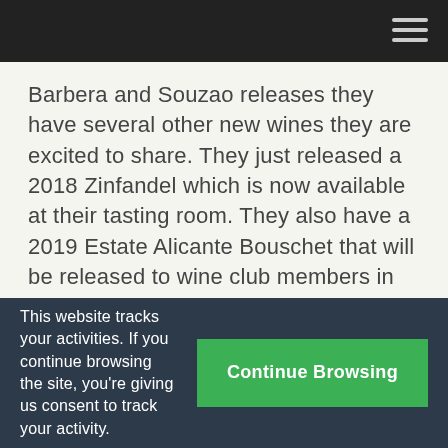Barbera and Souzao releases they have several other new wines they are excited to share. They just released a 2018 Zinfandel which is now available at their tasting room. They also have a 2019 Estate Alicante Bouschet that will be released to wine club members in June and will be available in their tasting room in July. Events at the Texas Heritage Vineyards tasting room are starting to get back swinging as well. They will be having a San Jacinto Day event with live music and food for purchase on April 18th.
This website tracks your activities. If you continue browsing the site, you're giving us consent to track your activity.
Continue Browsing